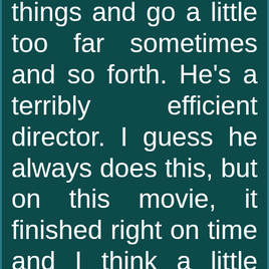things and go a little too far sometimes and so forth. He's a terribly efficient director. I guess he always does this, but on this movie, it finished right on time and I think a little under budget. He's really...